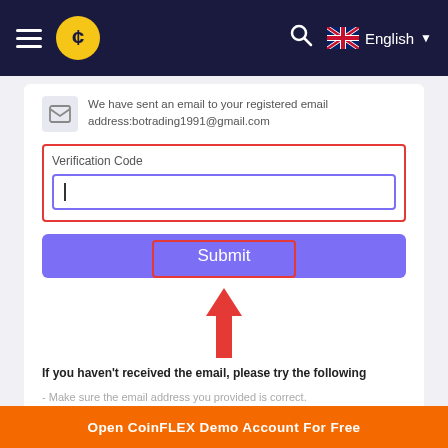[Figure (screenshot): Dark navy navigation bar with hamburger menu icon, gold coin logo, search icon, UK flag and English language selector]
We have sent an email to your registered email address:botrading1991@gmail.com
Verification Code
Submit
[Figure (illustration): Red upward-pointing arrow annotation overlaid on the Submit button]
If you haven't received the email, please try the following
- Make sure the email address you provided is correct.
- Check your Spam or Junk mail folders.
- Did not receive email.
Resend email (66S)
Open CoinFLEX Demo Account For Free